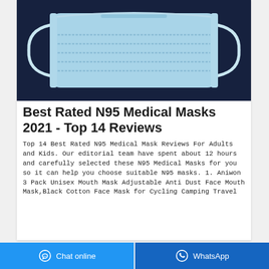[Figure (photo): A light blue N95/surgical face mask with ear loops, photographed on a dark navy/black background from above.]
Best Rated N95 Medical Masks 2021 - Top 14 Reviews
Top 14 Best Rated N95 Medical Mask Reviews For Adults and Kids. Our editorial team have spent about 12 hours and carefully selected these N95 Medical Masks for you so it can help you choose suitable N95 masks. 1. Aniwon 3 Pack Unisex Mouth Mask Adjustable Anti Dust Face Mouth Mask,Black Cotton Face Mask for Cycling Camping Travel
Chat online   WhatsApp